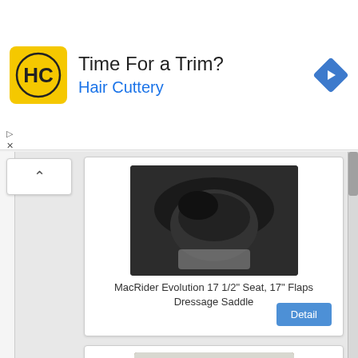[Figure (screenshot): Hair Cuttery advertisement banner with yellow HC logo, 'Time For a Trim?' heading, 'Hair Cuttery' subtitle in blue, and a blue diamond navigation arrow icon on the right]
[Figure (photo): Black leather MacRider Evolution dressage saddle photographed from above on a light surface]
MacRider Evolution 17 1/2" Seat, 17" Flaps Dressage Saddle
[Figure (photo): Brown fabric/suede MacRider saddle cover photographed against a brick wall background]
MacRider Challenge Brown Dressage Saddle 17.5